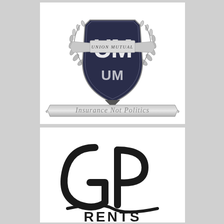[Figure (logo): Union Mutual insurance logo with shield, laurel wreath, ribbon banner reading 'UNION MUTUAL', monogram 'UM' on shield, and tagline 'Insurance Not Politics' on silver banner at bottom]
[Figure (logo): GP Rents logo with large stylized 'G' and 'P' letters in black, a curved line beneath, and bold text 'RENTS' at the bottom]